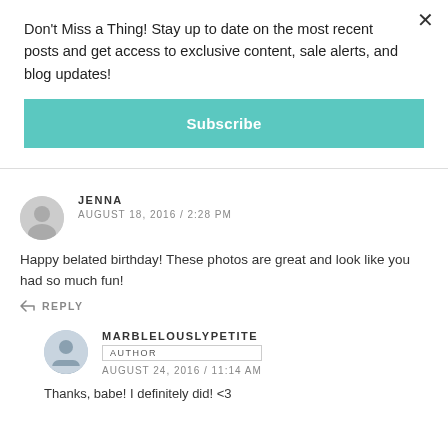Don't Miss a Thing! Stay up to date on the most recent posts and get access to exclusive content, sale alerts, and blog updates!
Subscribe
JENNA
AUGUST 18, 2016 / 2:28 PM
Happy belated birthday! These photos are great and look like you had so much fun!
REPLY
MARBLELOUSLYPETITE
AUTHOR
AUGUST 24, 2016 / 11:14 AM
Thanks, babe! I definitely did! <3